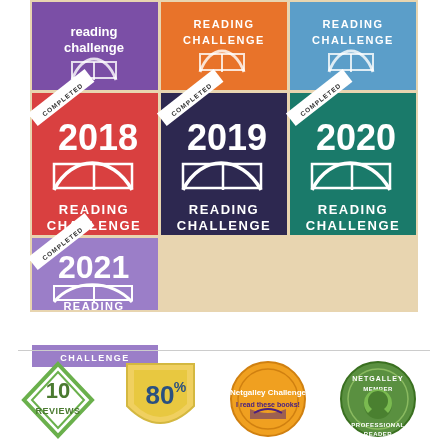[Figure (infographic): A grid of Goodreads Reading Challenge completed badges for years 2018, 2019, 2020, and 2021, plus earlier challenge badges. The top row shows three badges in purple, orange, and blue reading challenge badges. The middle row shows completed 2018 (red), 2019 (dark purple), and 2020 (teal) reading challenge badges. The bottom row shows completed 2021 (lavender) reading challenge badge. Each completed badge has a diagonal white 'COMPLETED' ribbon across the corner.]
[Figure (infographic): A row of four circular/badge icons: a green diamond shape with '10 REVIEWS', a yellow shield with '80%', a circular badge for 'Reading Challenge' with book imagery, and a green circular NetGalley Member Professional Reader badge.]